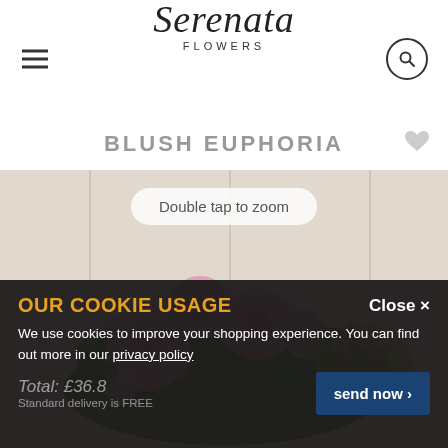[Figure (logo): Serenata Flowers logo with hamburger menu on left and search icon on right]
BLUSH EUPHORIA
[Figure (photo): Pink roses and pink kalanchoe flowers arranged in a basket against a light wood background, with 'Double tap to zoom' overlay pill]
OUR COOKIE USAGE
Close ×
We use cookies to improve your shopping experience. You can find out more in our privacy policy
Total: £36.8
Standard delivery is FREE
send now >